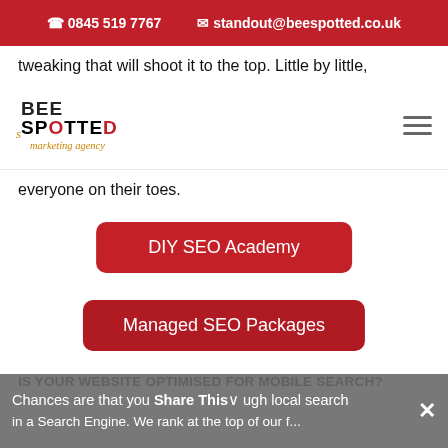0845 519 7767  standout@beespotted.co.uk
tweaking that will shoot it to the top. Little by little,
[Figure (logo): Bee Spotted marketing agency logo with text BEE SPOTTED and tagline in orange italic script]
everyone on their toes.
DIY SEO Academy
Managed SEO Packages
IS YOUR WEBSITE OPTIMISED FOR MOBILE SEARCH?
Chances are that you found us through local search in a Search Engine. We rank at the top of our f...